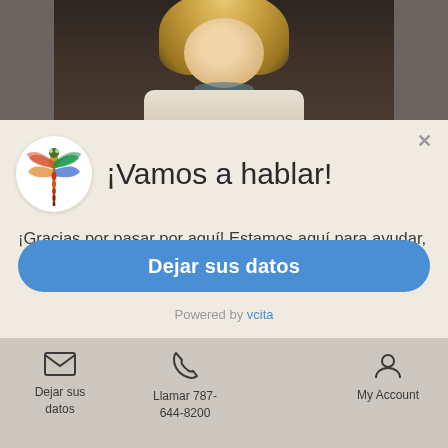[Figure (photo): Photo strip showing a blonde woman smiling, background is dark.]
[Figure (illustration): Close-up popup modal with dragonfly logo in white circle, title, text, and CTA button.]
¡Vamos a hablar!
¡Gracias por pasar por aquí! Estamos aquí para ayudar, por favor no dude en llegar a nosotros.
Dejar sus datos
Powered by vcita
Dejar sus datos   Llamar 787-644-8200   My Account